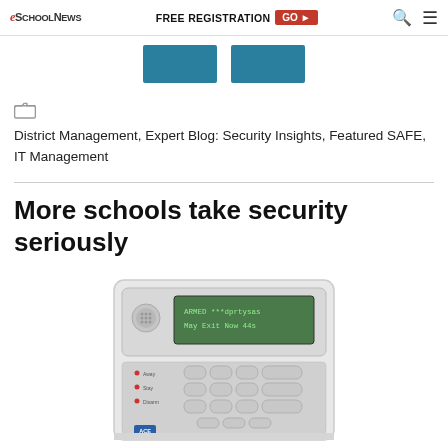eSchoolNews | FREE REGISTRATION GO ▶
[Figure (other): Two teal/blue rectangular banner buttons side by side]
District Management, Expert Blog: Security Insights, Featured SAFE, IT Management
More schools take security seriously
[Figure (photo): Security alarm keypad panel with LCD display showing 'ARMED ***dprtysas May Exit Now 44s' and numeric keypad buttons, white casing with ACE logo]